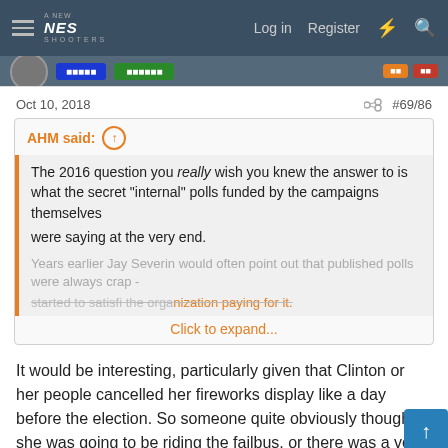NES Shooters — Log in | Register
Oct 10, 2018   #69/86
AHM said: The 2016 question you really wish you knew the answer to is what the secret "internal" polls funded by the campaigns themselves were saying at the very end.

Years earlier Jay Severin would often point out that published polls were always crap - started to satisfi the organization paying for it.

Click to expand...
It would be interesting, particularly given that Clinton or her people cancelled her fireworks display like a day before the election. So someone quite obviously thought she was going to be riding the failbus, or there was a very good chance of it.